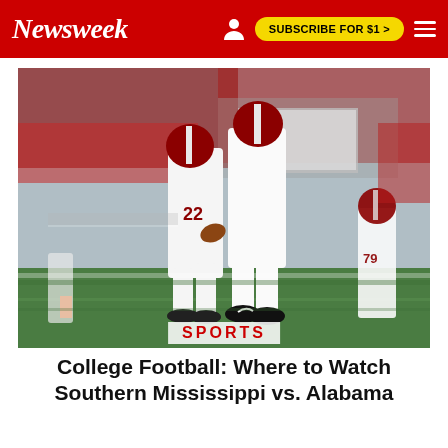Newsweek  SUBSCRIBE FOR $1 >
[Figure (photo): Two Alabama football players in white uniforms and crimson helmets jumping and celebrating in the end zone, with a packed stadium crowd behind them. Player #22 visible on the left. Another player #79 walking in background on right.]
SPORTS
College Football: Where to Watch Southern Mississippi vs. Alabama